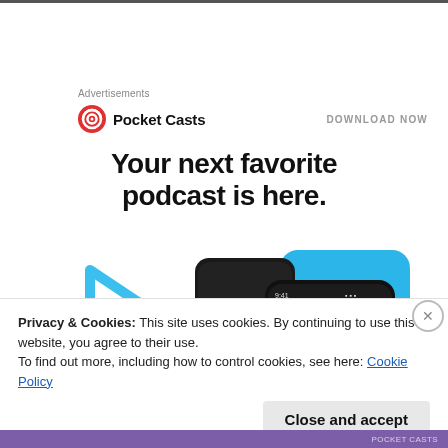Advertisements
[Figure (logo): Pocket Casts logo: red circle with white headphone/cast icon, followed by bold text 'Pocket Casts' and 'DOWNLOAD NOW' on the right]
Your next favorite podcast is here.
[Figure (screenshot): Illustrated smartphone screenshots showing the Pocket Casts app 'Up Next' interface, with blue angular play button graphic on the left and two phone screens on the right showing the app UI]
Privacy & Cookies: This site uses cookies. By continuing to use this website, you agree to their use.
To find out more, including how to control cookies, see here: Cookie Policy
Close and accept